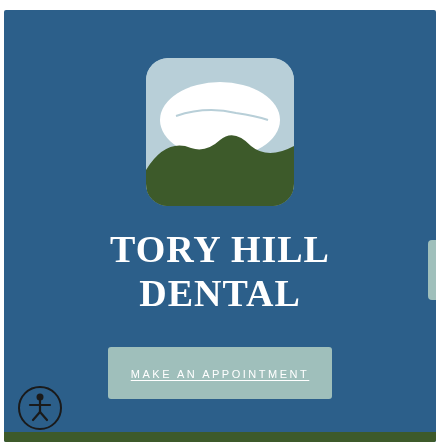[Figure (logo): Tory Hill Dental logo: rounded square with light blue sky, white tooth/hill shape, and dark green hills at bottom]
TORY HILL DENTAL
MAKE AN APPOINTMENT